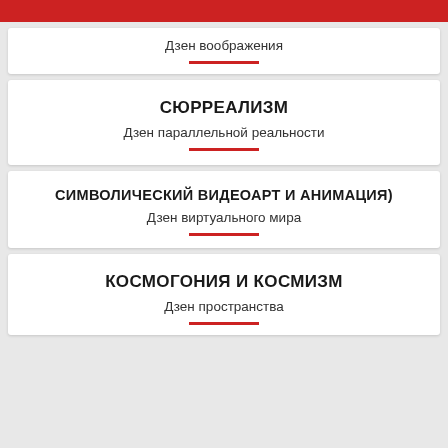Дзен воображения
СЮРРЕАЛИЗМ
Дзен параллельной реальности
СИМВОЛИЧЕСКИЙ ВИДЕОАРТ И АНИМАЦИЯ)
Дзен виртуального мира
КОСМОГОНИЯ И КОСМИЗМ
Дзен пространства